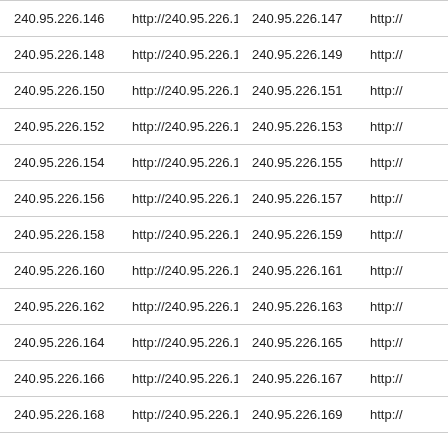| 240.95.226.146 | http://240.95.226.146 | 240.95.226.147 | http:// |
| 240.95.226.148 | http://240.95.226.148 | 240.95.226.149 | http:// |
| 240.95.226.150 | http://240.95.226.150 | 240.95.226.151 | http:// |
| 240.95.226.152 | http://240.95.226.152 | 240.95.226.153 | http:// |
| 240.95.226.154 | http://240.95.226.154 | 240.95.226.155 | http:// |
| 240.95.226.156 | http://240.95.226.156 | 240.95.226.157 | http:// |
| 240.95.226.158 | http://240.95.226.158 | 240.95.226.159 | http:// |
| 240.95.226.160 | http://240.95.226.160 | 240.95.226.161 | http:// |
| 240.95.226.162 | http://240.95.226.162 | 240.95.226.163 | http:// |
| 240.95.226.164 | http://240.95.226.164 | 240.95.226.165 | http:// |
| 240.95.226.166 | http://240.95.226.166 | 240.95.226.167 | http:// |
| 240.95.226.168 | http://240.95.226.168 | 240.95.226.169 | http:// |